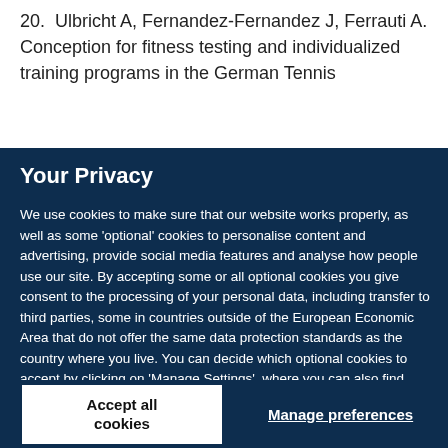20. Ulbricht A, Fernandez-Fernandez J, Ferrauti A. Conception for fitness testing and individualized training programs in the German Tennis
Your Privacy
We use cookies to make sure that our website works properly, as well as some 'optional' cookies to personalise content and advertising, provide social media features and analyse how people use our site. By accepting some or all optional cookies you give consent to the processing of your personal data, including transfer to third parties, some in countries outside of the European Economic Area that do not offer the same data protection standards as the country where you live. You can decide which optional cookies to accept by clicking on 'Manage Settings', where you can also find more information about how your personal data is processed. Further information can be found in our privacy policy.